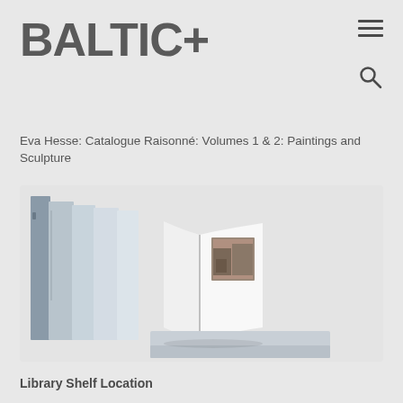BALTIC+
Eva Hesse: Catalogue Raisonné: Volumes 1 & 2: Paintings and Sculpture
[Figure (photo): Photo of Eva Hesse catalogue raisonné books — several volumes upright on left and an open book laid flat showing an image, with another partially visible book below]
Library Shelf Location